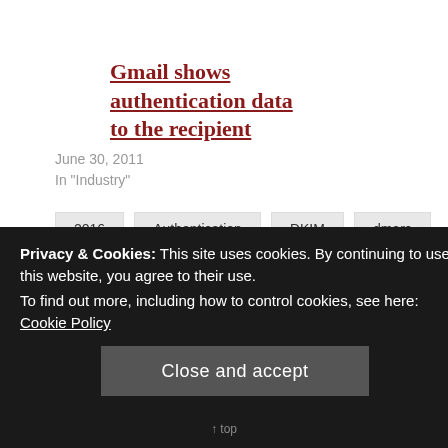Gmail shows authentication data to the recipient
June 30, 2011
In "Industry"
2016
Authentication
DKIM
dmarc
predictions
spf
[Figure (other): Facebook and Twitter share buttons]
Privacy & Cookies: This site uses cookies. By continuing to use this website, you agree to their use.
To find out more, including how to control cookies, see here: Cookie Policy
Close and accept